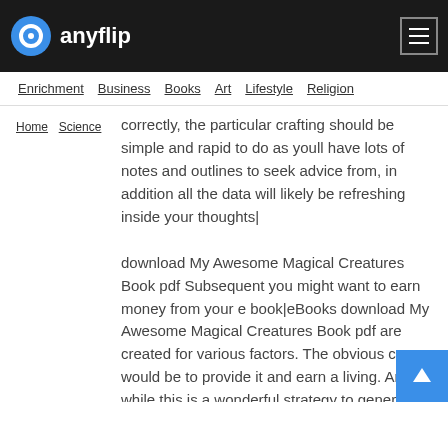anyflip
Enrichment  Business  Books  Art  Lifestyle  Religion
Home  Science
correctly, the particular crafting should be simple and rapid to do as youll have lots of notes and outlines to seek advice from, in addition all the data will likely be refreshing inside your thoughts| download My Awesome Magical Creatures Book pdf Subsequent you might want to earn money from your e book|eBooks download My Awesome Magical Creatures Book pdf are created for various factors. The obvious cause would be to provide it and earn a living. And while this is a wonderful strategy to generate profits crafting eBooks download My Awesome Magical Creatures Book pdf, you will find other methods much too|PLR eBooks download My Awesome Magical Creatures Book pdf download